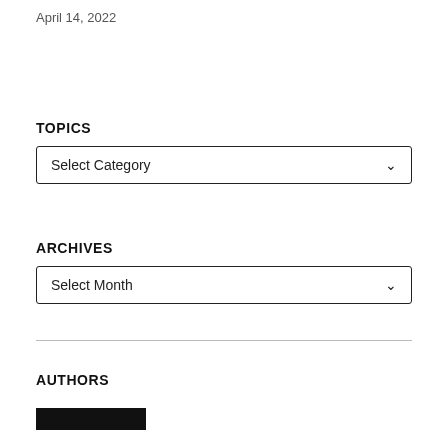April 14, 2022
TOPICS
[Figure (screenshot): Dropdown selector labeled 'Select Category' with a down chevron arrow]
ARCHIVES
[Figure (screenshot): Dropdown selector labeled 'Select Month' with a down chevron arrow]
AUTHORS